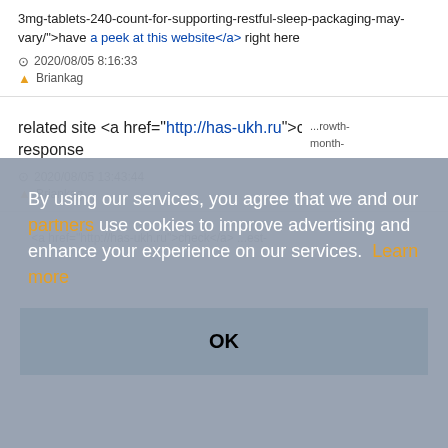3mg-tablets-240-count-for-supporting-restful-sleep-packaging-may-vary/">have a peek at this website</a> right here
2020/08/05 8:16:33
Briankag
related site <a href="http://has-ukh.ru">check</a> my response
2020/08/05 13:43:44
Briankag
(partial truncated text) ...rowth-month-
By using our services, you agree that we and our partners use cookies to improve advertising and enhance your experience on our services. Learn more
OK